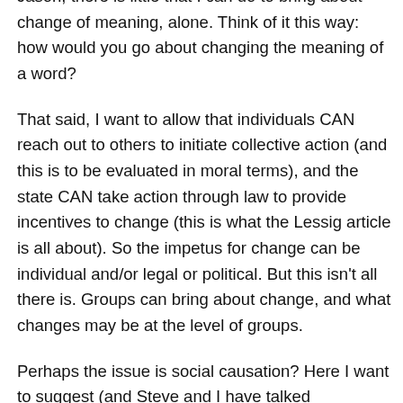Jason, there is little that I can do to bring about change of meaning, alone. Think of it this way: how would you go about changing the meaning of a word?
That said, I want to allow that individuals CAN reach out to others to initiate collective action (and this is to be evaluated in moral terms), and the state CAN take action through law to provide incentives to change (this is what the Lessig article is all about). So the impetus for change can be individual and/or legal or political. But this isn't all there is. Groups can bring about change, and what changes may be at the level of groups.
Perhaps the issue is social causation? Here I want to suggest (and Steve and I have talked